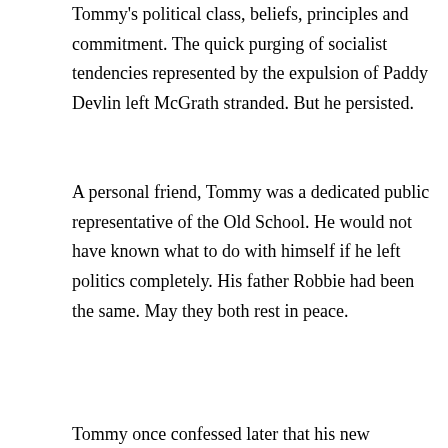Tommy's political class, beliefs, principles and commitment. The quick purging of socialist tendencies represented by the expulsion of Paddy Devlin left McGrath stranded. But he persisted.
A personal friend, Tommy was a dedicated public representative of the Old School. He would not have known what to do with himself if he left politics completely. His father Robbie had been the same. May they both rest in peace.
Tommy once confessed later that his new colleagues were not the socialists he'd have chosen for party colleagues. But he was loyal. He recognised that they were principled and good men. He confessed he'd never felt happier in that respect.
Eventually a decade ago we got our bypass. Only it wasn't and it isn't. It's a dual carriageway Ring Road facilitating intra-city (i.e. Newry) traffic much more than Belfast-Dublin transport. The capital's North-bound motorway reaches now to Dundalk and will